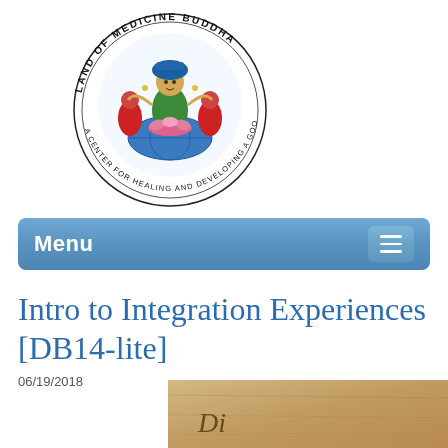[Figure (logo): Land of Medicine Buddha circular logo with colorful Buddhist deity figure in center, text around circle reading 'LAND OF MEDICINE BUDDHA - A CENTER FOR HEALING AND DEVELOPING A GOOD HEART']
[Figure (screenshot): Blue navigation menu bar with 'Menu' text on left and hamburger icon on right]
Intro to Integration Experiences [DB14-lite]
06/19/2018
[Figure (photo): Partial image visible at bottom of page showing vintage/aged background with partial text beginning with 'Di...']